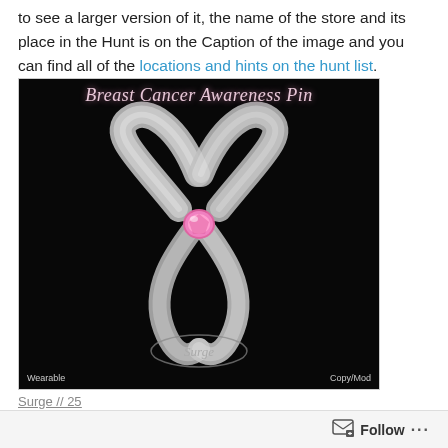to see a larger version of it, the name of the store and its place in the Hunt is on the Caption of the image and you can find all of the locations and hints on the hunt list.
[Figure (photo): A digital 3D rendered image of a breast cancer awareness ribbon (white/silver semi-transparent ribbon with a pink gemstone at the center crossing point) on a black background. Text at top reads 'Breast Cancer Awareness Pin' in cursive pink lettering. 'Surge' logo at bottom center. Labels 'Wearable' at bottom left and 'Copy/Mod' at bottom right.]
Surge // 25
Follow